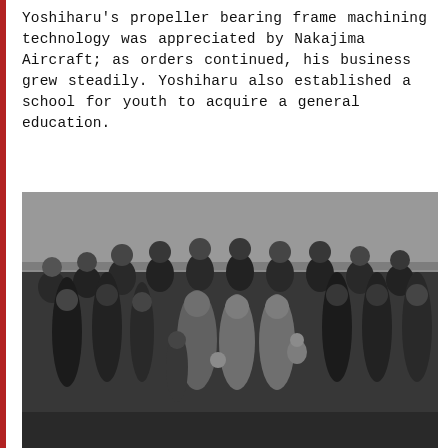Yoshiharu's propeller bearing frame machining technology was appreciated by Nakajima Aircraft; as orders continued, his business grew steadily. Yoshiharu also established a school for youth to acquire a general education.
[Figure (photo): Black and white group photograph of approximately 20 people, mostly men in military-style uniforms with caps and belts, posing together outdoors in front of a building. Several women in traditional Japanese clothing (kimono) are seated in the middle row. A small child is held by one of the women.]
[Figure (photo): Black and white image showing a traditional Japanese building with a tiled roof. In the upper right corner is an oval-shaped logo or emblem (company seal) with Japanese characters: large character 大 on top and 塚 below, along with decorative wing-like design, and text 社章 (company badge) below the emblem.]